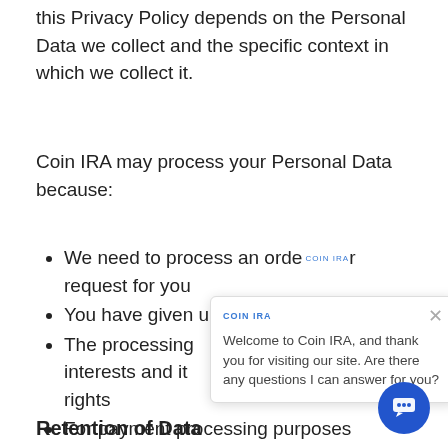this Privacy Policy depends on the Personal Data we collect and the specific context in which we collect it.
Coin IRA may process your Personal Data because:
We need to process an order request for you
You have given us your consent
The processing is in our legitimate interests and it is not overridden by your rights
For payment processing purposes
To comply with the law
Retention of Data